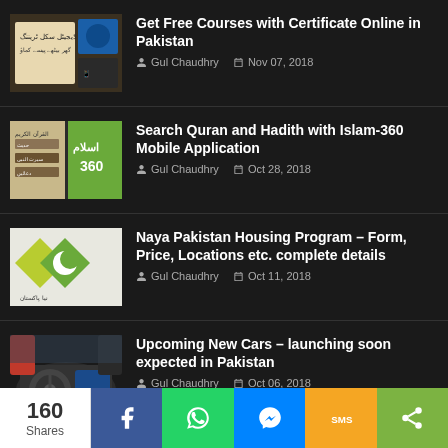Get Free Courses with Certificate Online in Pakistan — Gul Chaudhry, Nov 07, 2018
Search Quran and Hadith with Islam-360 Mobile Application — Gul Chaudhry, Oct 28, 2018
Naya Pakistan Housing Program – Form, Price, Locations etc. complete details — Gul Chaudhry, Oct 11, 2018
Upcoming New Cars – launching soon expected in Pakistan — Gul Chaudhry, Oct 06, 2018
160 Shares | Facebook | WhatsApp | Messenger | SMS | Share